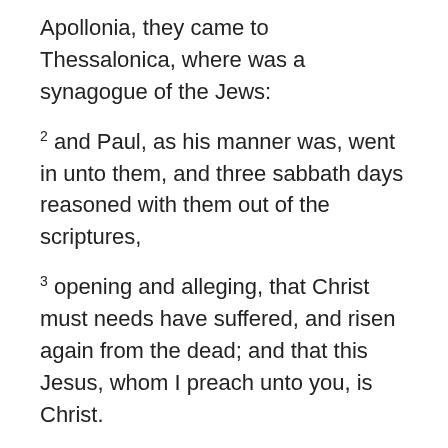Now when they had passed through Amphipolis and Apollonia, they came to Thessalonica, where was a synagogue of the Jews:
2 and Paul, as his manner was, went in unto them, and three sabbath days reasoned with them out of the scriptures,
3 opening and alleging, that Christ must needs have suffered, and risen again from the dead; and that this Jesus, whom I preach unto you, is Christ.
4 And some of them believed, and consorted with Paul and Silas; and of the devout Greeks a great multitude, and of the chief women not a few.
5 But the Jews which believed not, moved with envy, took unto them certain lewd fellows of the baser sort, and gathered a company, and set all the city on an uproar, and